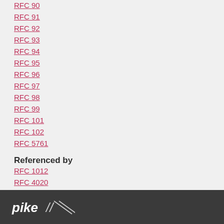RFC 90
RFC 91
RFC 92
RFC 93
RFC 94
RFC 95
RFC 96
RFC 97
RFC 98
RFC 99
RFC 101
RFC 102
RFC 5761
Referenced by
RFC 1012
RFC 4020
RFC 7120 (BCP 100)
pike